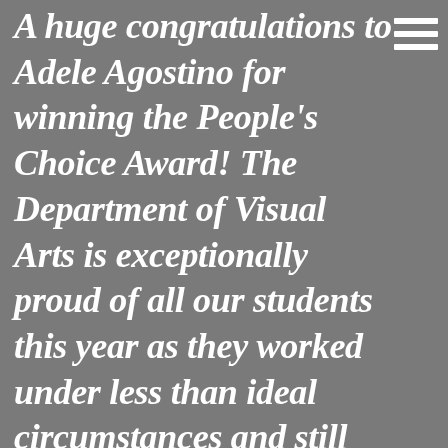A huge congratulations to Adele Agostino for winning the People's Choice Award! The Department of Visual Arts is exceptionally proud of all our students this year as they worked under less than ideal circumstances and still managed to create thought provoking, beautiful and inspiring works of art. We hope the community of Thunder Bay was also inspired and found enjoyment in the online exhibition and we thank everyone who visited the show and cast their vote.